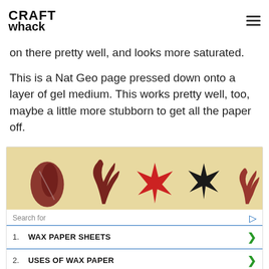CRAFT whack
on there pretty well, and looks more saturated.
This is a Nat Geo page pressed down onto a layer of gel medium. This works pretty well, too, maybe a little more stubborn to get all the paper off.
[Figure (photo): Advertisement image showing sea objects on a beige background: a dark red shell, red seaweed, a red starfish, a dark starfish, and red coral/seaweed. Below are search links: 1. WAX PAPER SHEETS, 2. USES OF WAX PAPER. Yahoo! Search | Sponsored.]